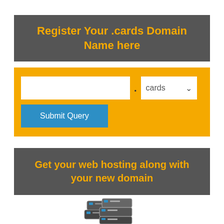Register Your .cards Domain Name here
[Figure (screenshot): Domain registration form with a text input, dot separator, 'cards' dropdown, and Submit Query button on a yellow background]
Get your web hosting along with your new domain
[Figure (illustration): Server/computer hardware illustration at the bottom of the page]